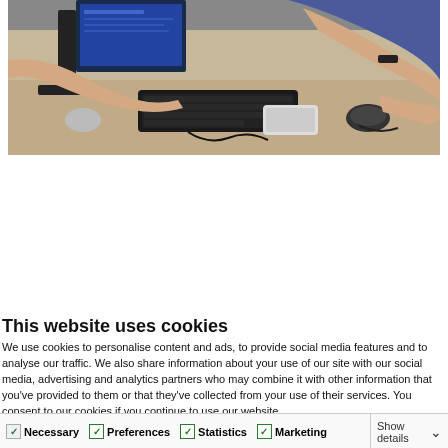[Figure (photo): Two people working at a desk with a computer monitor, keyboard, mouse, and a smartphone visible on the desk surface.]
This website uses cookies
We use cookies to personalise content and ads, to provide social media features and to analyse our traffic. We also share information about your use of our site with our social media, advertising and analytics partners who may combine it with other information that you've provided to them or that they've collected from your use of their services. You consent to our cookies if you continue to use our website.
Allow all cookies
Allow selection
Use necessary cookies only
Necessary  Preferences  Statistics  Marketing  Show details